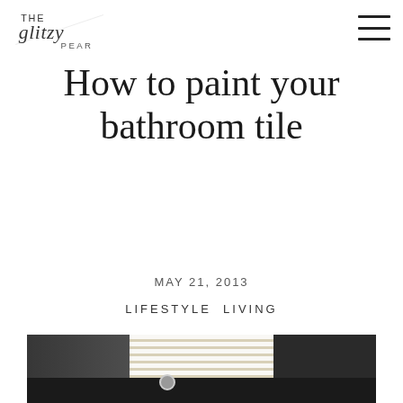The Glitzy Pear — navigation logo and hamburger menu
How to paint your bathroom tile
MAY 21, 2013
LIFESTYLE  LIVING
[Figure (photo): Bathroom interior showing dark countertop with faucet, window with horizontal blinds letting in bright light, dark cabinetry below]